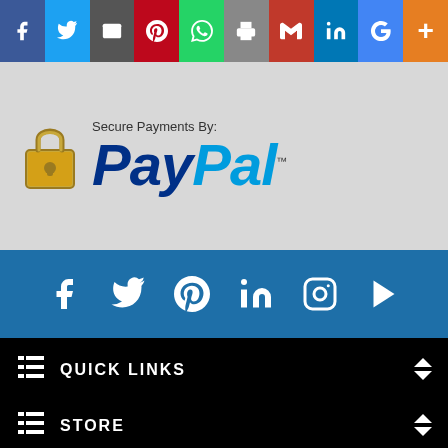[Figure (screenshot): Social share bar with icons: Facebook, Twitter, Email, Pinterest, WhatsApp, Print, Gmail, LinkedIn, Google, More]
[Figure (logo): Secure Payments By: PayPal logo with padlock icon on grey background]
[Figure (infographic): Blue social media bar with icons: Facebook, Twitter, Pinterest, LinkedIn, Instagram, YouTube/Play]
QUICK LINKS
STORE
ACCOUNT
COMPANY INFO